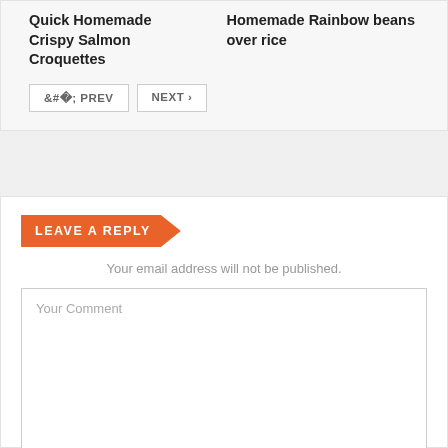Quick Homemade Crispy Salmon Croquettes
Homemade Rainbow beans over rice
‹ PREV   NEXT ›
LEAVE A REPLY
Your email address will not be published.
Your Comment
Your Name *
Your Email *